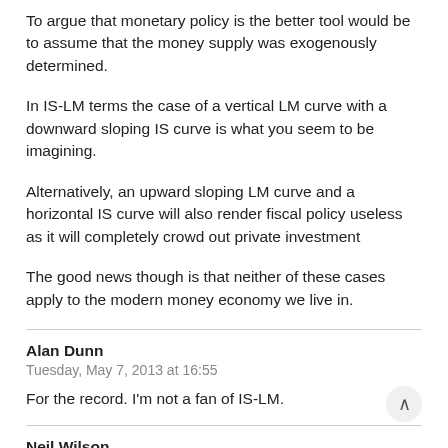To argue that monetary policy is the better tool would be to assume that the money supply was exogenously determined.
In IS-LM terms the case of a vertical LM curve with a downward sloping IS curve is what you seem to be imagining.
Alternatively, an upward sloping LM curve and a horizontal IS curve will also render fiscal policy useless as it will completely crowd out private investment
The good news though is that neither of these cases apply to the modern money economy we live in.
Alan Dunn
Tuesday, May 7, 2013 at 16:55
For the record. I'm not a fan of IS-LM.
Neil Wilson